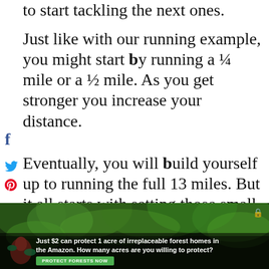to start tackling the next ones.
Just like with our running example, you might start by running a ¼ mile or a ½ mile. As you get stronger you increase your distance.
Eventually, you will build yourself up to running the full 13 miles. But it all starts with setting those small realistic goals in the beginning.
[Figure (photo): Forest/Amazon advertisement banner. Dark green forest background with text overlay: 'Just $2 can protect 1 acre of irreplaceable forest homes in the Amazon. How many acres are you willing to protect?' with a green 'PROTECT FORESTS NOW' button. Social sharing icons (Facebook, Twitter, Pinterest) visible on the left side.]